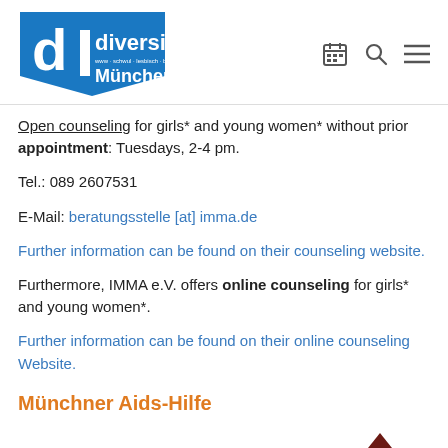[Figure (logo): Diversity München logo — blue shield shape with white 'd' and 'I' letters, 'diversity' text in white, 'München' text in white on blue background]
Open counseling for girls* and young women* without prior appointment: Tuesdays, 2-4 pm.
Tel.: 089 2607531
E-Mail: beratungsstelle [at] imma.de
Further information can be found on their counseling website.
Furthermore, IMMA e.V. offers online counseling for girls* and young women*.
Further information can be found on their online counseling Website.
Münchner Aids-Hilfe
Psycho-social Counseling:
[Figure (logo): Münchner Aids-Hilfe logo — dark brown/maroon geometric arrow or tower shape, bottom-right corner]